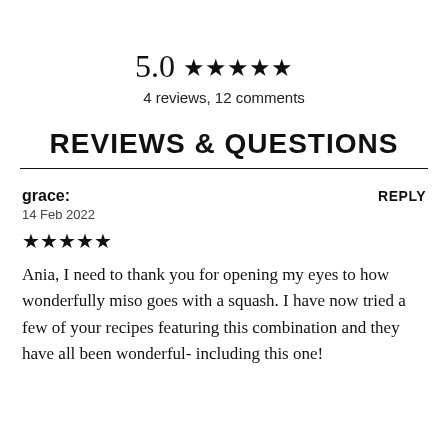5.0 ★★★★★
4 reviews, 12 comments
REVIEWS & QUESTIONS
grace:
REPLY
14 Feb 2022
★★★★★
Ania, I need to thank you for opening my eyes to how wonderfully miso goes with a squash. I have now tried a few of your recipes featuring this combination and they have all been wonderful- including this one!